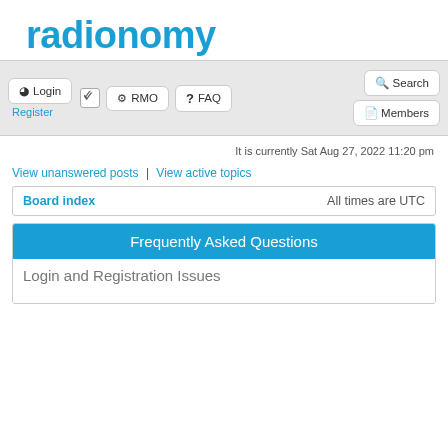[Figure (logo): Radionomy logo — blue bold lowercase text 'radionomy']
Login | Register | RMO | FAQ | Search | Members navigation bar
It is currently Sat Aug 27, 2022 11:20 pm
View unanswered posts | View active topics
Board index   All times are UTC
Frequently Asked Questions
Login and Registration Issues